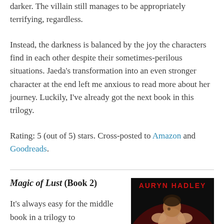darker. The villain still manages to be appropriately terrifying, regardless.
Instead, the darkness is balanced by the joy the characters find in each other despite their sometimes-perilous situations. Jaeda's transformation into an even stronger character at the end left me anxious to read more about her journey. Luckily, I've already got the next book in this trilogy.
Rating: 5 (out of 5) stars. Cross-posted to Amazon and Goodreads.
Magic of Lust (Book 2)
It's always easy for the middle book in a trilogy to
[Figure (illustration): Book cover for Magic of Lust by Auryn Hadley, showing a shirtless male figure with flames, dramatic red and dark tones, with the author name in red text at the top.]